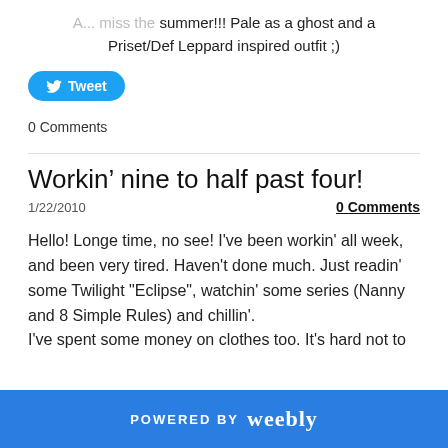... miss the summer!!! Pale as a ghost and a Priset/Def Leppard inspired outfit ;)
[Figure (other): Twitter Tweet button (blue rounded button with bird icon and 'Tweet' text)]
0 Comments
Workin' nine to half past four!
1/22/2010
0 Comments
Hello! Longe time, no see! I've been workin' all week, and been very tired. Haven't done much. Just readin' some Twilight "Eclipse", watchin' some series (Nanny and 8 Simple Rules) and chillin'. I've spent some money on clothes too. It's hard not to
POWERED BY weebly